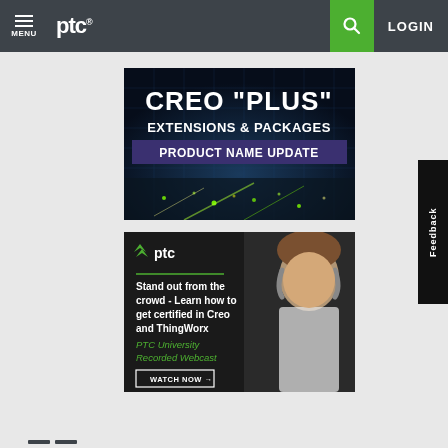MENU | ptc® | [search] | LOGIN
[Figure (screenshot): Banner image for Creo 'Plus' Extensions & Packages Product Name Update. Dark blue background with city lights and grid pattern. Text reads: CREO "PLUS" EXTENSIONS & PACKAGES PRODUCT NAME UPDATE.]
[Figure (screenshot): PTC promotional banner. Shows man with headphones on right side. PTC logo top left with green chevron icon. Text: Stand out from the crowd - Learn how to get certified in Creo and ThingWorx. PTC University Recorded Webcast. WATCH NOW button with arrow.]
Navigation menu hint bars